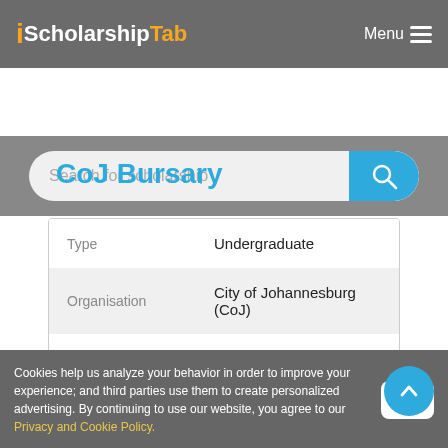iScholarshipTab  Menu
Search for scholarship
CoJ Bursary
|  |  |
| --- | --- |
| Type | Undergraduate |
| Organisation | City of Johannesburg (CoJ) |
| Country to study | - |
| School to study | - |
Cookies help us analyze your behavior in order to improve your experience; and third parties use them to create personalized advertising. By continuing to use our website, you agree to our Privacy and Cookie Policy.